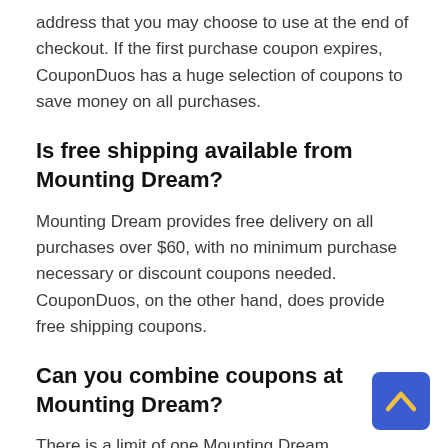address that you may choose to use at the end of checkout. If the first purchase coupon expires, CouponDuos has a huge selection of coupons to save money on all purchases.
Is free shipping available from Mounting Dream?
Mounting Dream provides free delivery on all purchases over $60, with no minimum purchase necessary or discount coupons needed. CouponDuos, on the other hand, does provide free shipping coupons.
Can you combine coupons at Mounting Dream?
There is a limit of one Mounting Dream promotional code per order, however occasionally, during holidays or other promotions, some promo coupons can also be used on sale items. You can save more money than the discount price if you use the promo code on sale items. To cut costs, bonus points can also be applied to purchases. By